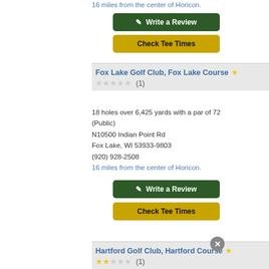16 miles from the center of Horicon.
✎ Write a Review
Check Tee Times
Fox Lake Golf Club, Fox Lake Course ★ (1)
18 holes over 6,425 yards with a par of 72 (Public)
N10500 Indian Point Rd
Fox Lake, WI 53933-9803
(920) 928-2508
16 miles from the center of Horicon.
✎ Write a Review
Check Tee Times
Hartford Golf Club, Hartford Course ★ (1)